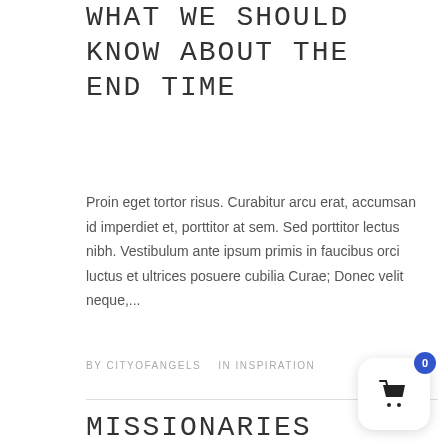WHAT WE SHOULD KNOW ABOUT THE END TIME
Proin eget tortor risus. Curabitur arcu erat, accumsan id imperdiet et, porttitor at sem. Sed porttitor lectus nibh. Vestibulum ante ipsum primis in faucibus orci luctus et ultrices posuere cubilia Curae; Donec velit neque,...
BY CITYOFANGELS   IN INSPIRATION
MISSIONARIES HELP FLOOD VICTIMS IN GHANA